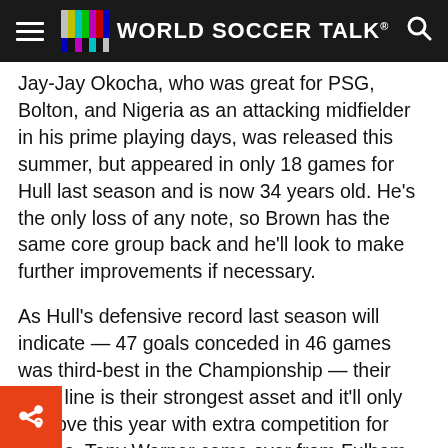WORLD SOCCER TALK
Jay-Jay Okocha, who was great for PSG, Bolton, and Nigeria as an attacking midfielder in his prime playing days, was released this summer, but appeared in only 18 games for Hull last season and is now 34 years old. He’s the only loss of any note, so Brown has the same core group back and he’ll look to make further improvements if necessary.
As Hull’s defensive record last season will indicate — 47 goals conceded in 46 games was third-best in the Championship — their back line is their strongest asset and it’ll only improve this year with extra competition for places. Tony Warner came over from Fulham on a free transfer, but he’ll back American-born Welsh international Boaz Myhill,